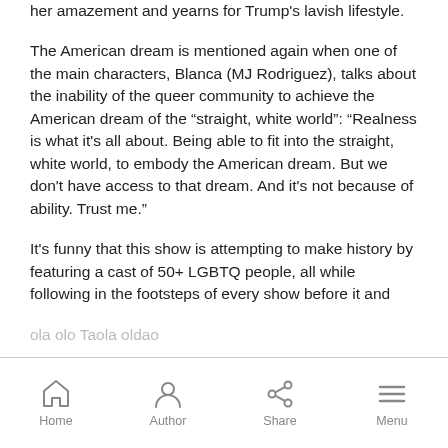her amazement and yearns for Trump's lavish lifestyle.
The American dream is mentioned again when one of the main characters, Blanca (MJ Rodriguez), talks about the inability of the queer community to achieve the American dream of the “straight, white world”: “Realness is what it's all about. Being able to fit into the straight, white world, to embody the American dream. But we don't have access to that dream. And it's not because of ability. Trust me."
It's funny that this show is attempting to make history by featuring a cast of 50+ LGBTQ people, all while following in the footsteps of every show before it and
Home  Author  Share  Menu